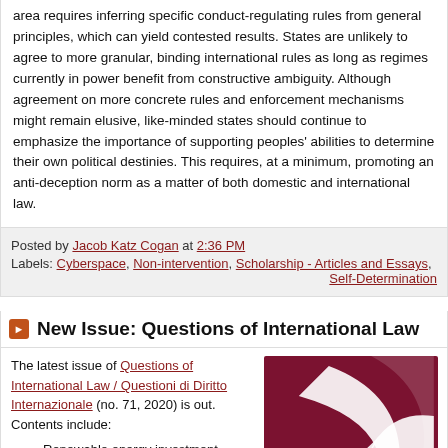area requires inferring specific conduct-regulating rules from general principles, which can yield contested results. States are unlikely to agree to more granular, binding international rules as long as regimes currently in power benefit from constructive ambiguity. Although agreement on more concrete rules and enforcement mechanisms might remain elusive, like-minded states should continue to emphasize the importance of supporting peoples' abilities to determine their own political destinies. This requires, at a minimum, promoting an anti-deception norm as a matter of both domestic and international law.
Posted by Jacob Katz Cogan at 2:36 PM
Labels: Cyberspace, Non-intervention, Scholarship - Articles and Essays, Self-Determination
New Issue: Questions of International Law
The latest issue of Questions of International Law / Questioni di Diritto Internazionale (no. 71, 2020) is out. Contents include:
[Figure (illustration): Dark red/maroon journal cover with white curved design elements]
Renewable energy investment cases against Italy and Spain: Same issues, different scenarios?